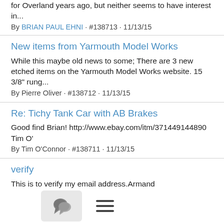for Overland years ago, but neither seems to have interest in...
By BRIAN PAUL EHNI · #138713 · 11/13/15
New items from Yarmouth Model Works
While this maybe old news to some; There are 3 new etched items on the Yarmouth Model Works website. 15 3/8" rung...
By Pierre Oliver · #138712 · 11/13/15
Re: Tichy Tank Car with AB Brakes
Good find Brian! http://www.ebay.com/itm/371449144890 Tim O'
By Tim O'Connor · #138711 · 11/13/15
verify
This is to verify my email address.Armand Premoarmprem@yahoogroups
By Armand Premo · #138710 · 11/13/15
Re: All time Sunshine list
Sunshine Models HO scale resin freight car kits Mike Fortney Sunshine Models HO scale resin freight car kits Sunshine